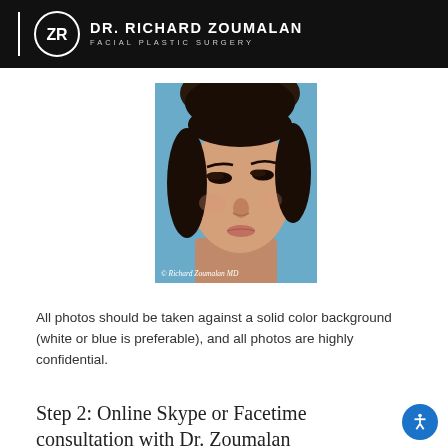DR. RICHARD ZOUMALAN FACIAL PLASTIC SURGERY
[Figure (photo): Three-quarter view portrait of a woman against a blue background, with copyright text '© Richard Zoumalan MD' at the bottom]
All photos should be taken against a solid color background (white or blue is preferable), and all photos are highly confidential.
Step 2: Online Skype or Facetime consultation with Dr. Zoumalan